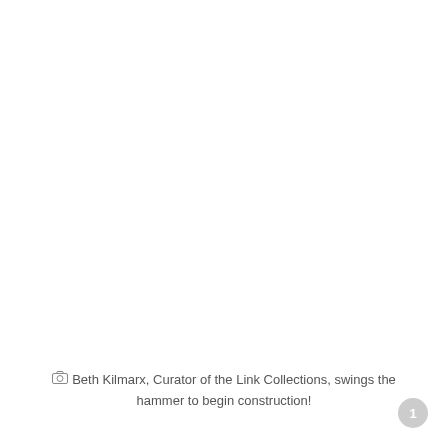Beth Kilmarx, Curator of the Link Collections, swings the hammer to begin construction!
1